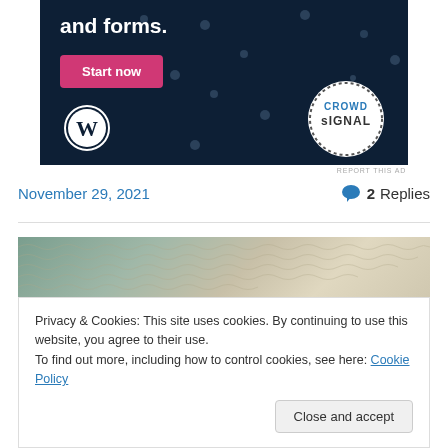[Figure (advertisement): Dark navy blue advertisement banner for CrowdSignal/WordPress with text 'and forms.', a pink 'Start now' button, WordPress logo, and CrowdSignal circular logo on a dotted background]
REPORT THIS AD
November 29, 2021
2 Replies
[Figure (photo): Close-up photo of a knitted/crocheted beige textile item against a green background]
Privacy & Cookies: This site uses cookies. By continuing to use this website, you agree to their use.
To find out more, including how to control cookies, see here: Cookie Policy
Close and accept